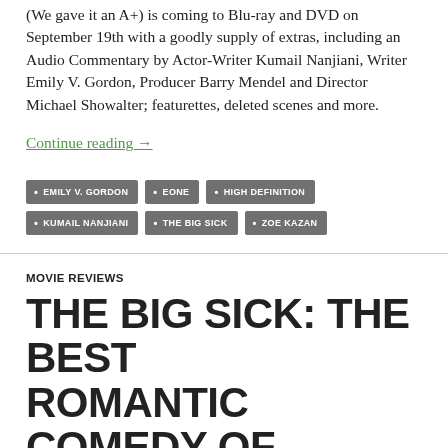(We gave it an A+) is coming to Blu-ray and DVD on September 19th with a goodly supply of extras, including an Audio Commentary by Actor-Writer Kumail Nanjiani, Writer Emily V. Gordon, Producer Barry Mendel and Director Michael Showalter; featurettes, deleted scenes and more.
Continue reading →
EMILY V. GORDON
EONE
HIGH DEFINITION
KUMAIL NANJIANI
THE BIG SICK
ZOE KAZAN
MOVIE REVIEWS
THE BIG SICK: THE BEST ROMANTIC COMEDY OF